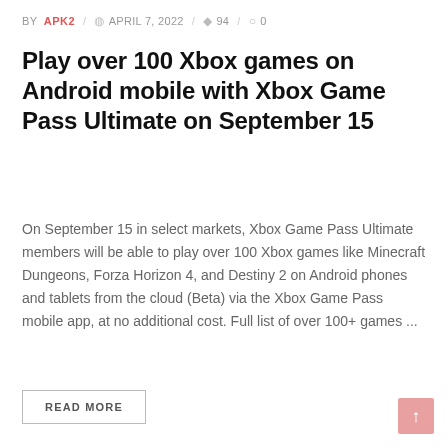BY APK2 / APRIL 7, 2022 / 94 / 0
Play over 100 Xbox games on Android mobile with Xbox Game Pass Ultimate on September 15
On September 15 in select markets, Xbox Game Pass Ultimate members will be able to play over 100 Xbox games like Minecraft Dungeons, Forza Horizon 4, and Destiny 2 on Android phones and tablets from the cloud (Beta) via the Xbox Game Pass mobile app, at no additional cost. Full list of over 100+ games ...
READ MORE